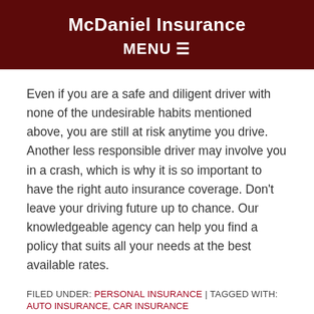McDaniel Insurance MENU
Even if you are a safe and diligent driver with none of the undesirable habits mentioned above, you are still at risk anytime you drive. Another less responsible driver may involve you in a crash, which is why it is so important to have the right auto insurance coverage. Don't leave your driving future up to chance. Our knowledgeable agency can help you find a policy that suits all your needs at the best available rates.
FILED UNDER: PERSONAL INSURANCE | TAGGED WITH: AUTO INSURANCE, CAR INSURANCE